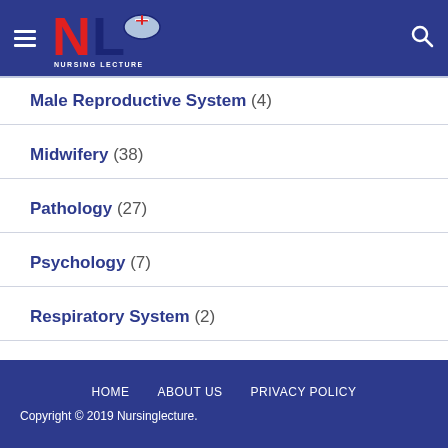[Figure (logo): Nursing Lecture logo with NL initials and nurse cap icon]
Male Reproductive System (4)
Midwifery (38)
Pathology (27)
Psychology (7)
Respiratory System (2)
Skeletal System (17)
Uncategorized (1)
HOME   ABOUT US   PRIVACY POLICY
Copyright © 2019 Nursinglecture.